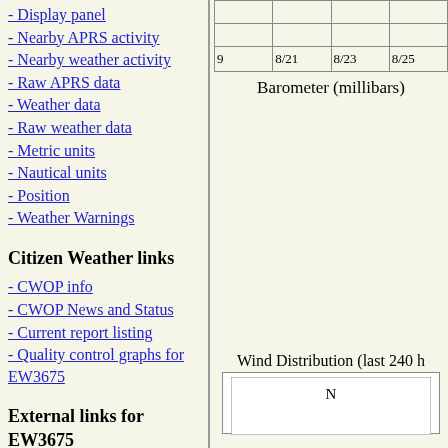- Display panel
- Nearby APRS activity
- Nearby weather activity
- Raw APRS data
- Weather data
- Raw weather data
- Metric units
- Nautical units
- Position
- Weather Warnings
Citizen Weather links
- CWOP info
- CWOP News and Status
- Current report listing
- Quality control graphs for EW3675
External links for EW3675
- QRZ Lookup
- MSN map (North...
|  |  |  |  |  |
| --- | --- | --- | --- | --- |
|  |  |  |  |  |
| 9 | 8/21 | 8/23 | 8/25 | 8/ |
Barometer (millibars)
Wind Distribution (last 240 h
[Figure (other): Wind distribution compass rose showing N label at top, partial view]